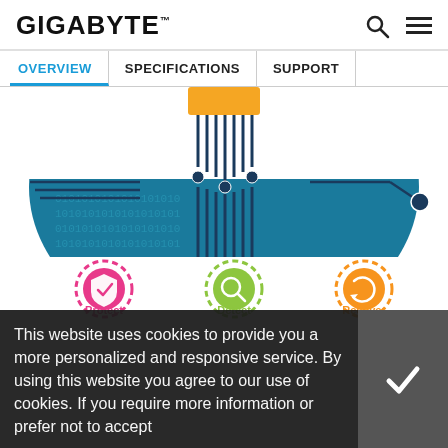GIGABYTE™
OVERVIEW | SPECIFICATIONS | SUPPORT
[Figure (illustration): Circuit board illustration showing a dark blue semicircle with binary 0101 pattern background, yellow/gold connector at top center, circuit traces with nodes running vertically downward, and horizontal circuit lines on left and right sides]
[Figure (infographic): Three circular icons in a row: pink/magenta shield with checkmark (Protect), green magnifying glass (Detect), orange refresh/recovery arrow (Recover). Labels below each icon in matching colors.]
This website uses cookies to provide you a more personalized and responsive service. By using this website you agree to our use of cookies. If you require more information or prefer not to accept